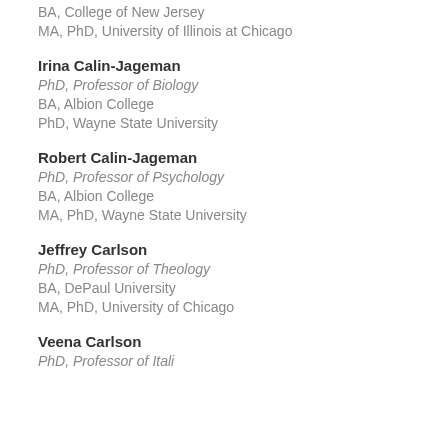BA, College of New Jersey
MA, PhD, University of Illinois at Chicago
Irina Calin-Jageman
PhD, Professor of Biology
BA, Albion College
PhD, Wayne State University
Robert Calin-Jageman
PhD, Professor of Psychology
BA, Albion College
MA, PhD, Wayne State University
Jeffrey Carlson
PhD, Professor of Theology
BA, DePaul University
MA, PhD, University of Chicago
Veena Carlson
PhD, Professor of Itali…